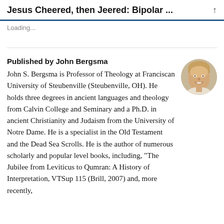Jesus Cheered, then Jeered: Bipolar ...
Loading...
Published by John Bergsma
[Figure (photo): Circular headshot photo of John Bergsma, a middle-aged man with light hair, smiling, wearing a light-colored shirt.]
John S. Bergsma is Professor of Theology at Franciscan University of Steubenville (Steubenville, OH). He holds three degrees in ancient languages and theology from Calvin College and Seminary and a Ph.D. in ancient Christianity and Judaism from the University of Notre Dame. He is a specialist in the Old Testament and the Dead Sea Scrolls. He is the author of numerous scholarly and popular level books, including, "The Jubilee from Leviticus to Qumran: A History of Interpretation, VTSup 115 (Brill, 2007) and, more recently,